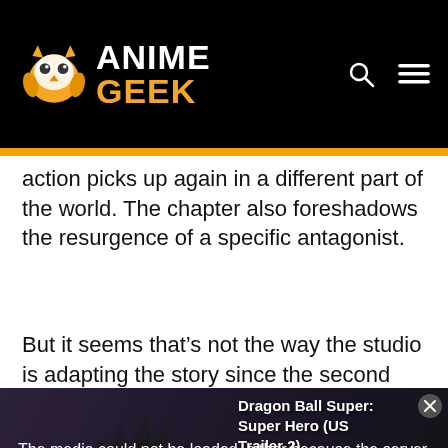Anime Geek
action picks up again in a different part of the world. The chapter also foreshadows the resurgence of a specific antagonist.
But it seems that’s not the way the studio is adapting the story since the second season
[Figure (screenshot): Video player showing Dragon Ball Super: Super Hero (US Trailer 2) with error message: The media could not be loaded, either because the server or network failed or because the format is not supported. A Goku animation still is visible behind the overlay.]
unfortunately, the next major story arc